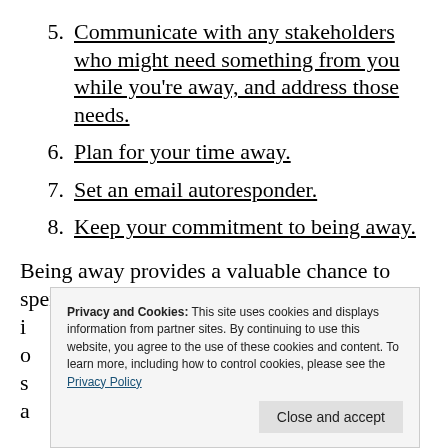5. Communicate with any stakeholders who might need something from you while you're away, and address those needs.
6. Plan for your time away.
7. Set an email autoresponder.
8. Keep your commitment to being away.
Being away provides a valuable chance to spend time with loved ones, invest in other i... o... s... a...
Privacy and Cookies: This site uses cookies and displays information from partner sites. By continuing to use this website, you agree to the use of these cookies and content. To learn more, including how to control cookies, please see the Privacy Policy
Close and accept